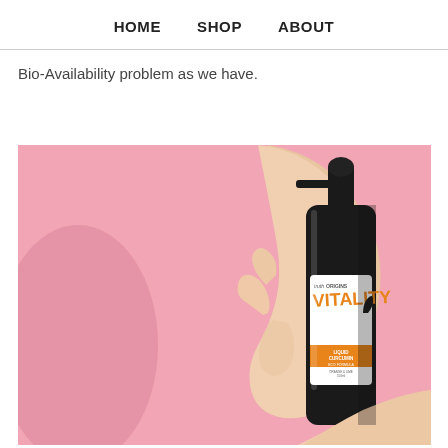HOME   SHOP   ABOUT
Bio-Availability problem as we have.
[Figure (photo): A hand holding a dark pump bottle of 'Truth Origins VITALITY Liquid Curcumin' supplement with an orange and white label, against a pink background. Another hand is visible at the bottom right.]